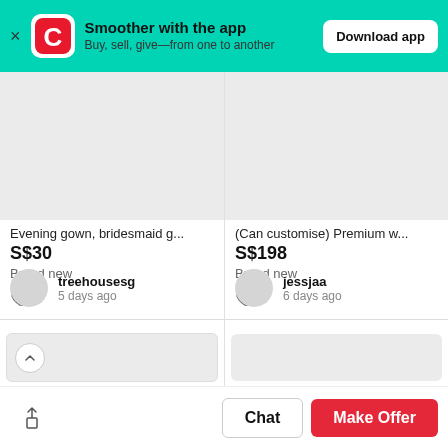Smoother with the app — Buy, sell, give—from one to another — Download app
[Figure (screenshot): Product image placeholder left — Evening gown listing]
Evening gown, bridesmaid g...
S$30
Brand new
♡ 2
[Figure (screenshot): Product image placeholder right — Premium w... listing]
(Can customise) Premium w...
S$198
Brand new
♡ 1
treehousesg
5 days ago
jessjaa
6 days ago
Chat
Make Offer